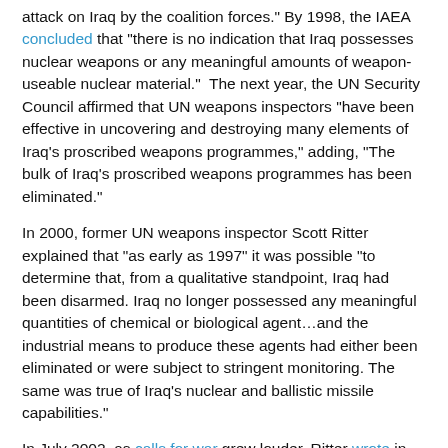attack on Iraq by the coalition forces." By 1998, the IAEA concluded that "there is no indication that Iraq possesses nuclear weapons or any meaningful amounts of weapon-useable nuclear material."  The next year, the UN Security Council affirmed that UN weapons inspectors "have been effective in uncovering and destroying many elements of Iraq's proscribed weapons programmes," adding, "The bulk of Iraq's proscribed weapons programmes has been eliminated."
In 2000, former UN weapons inspector Scott Ritter explained that "as early as 1997" it was possible "to determine that, from a qualitative standpoint, Iraq had been disarmed. Iraq no longer possessed any meaningful quantities of chemical or biological agent…and the industrial means to produce these agents had either been eliminated or were subject to stringent monitoring. The same was true of Iraq's nuclear and ballistic missile capabilities."
In July 2002, as calls for war grew louder, Ritter wrote in the Boston Globe that "the Bush administration provides only speculation, failing to detail any factually based information